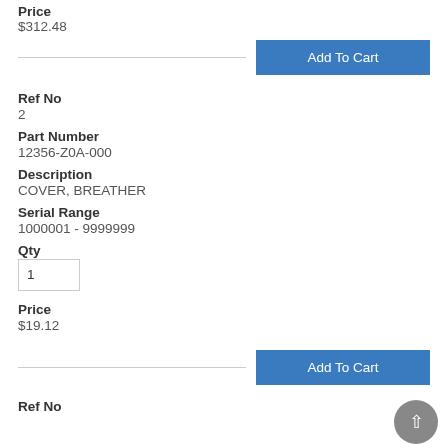Price
$312.48
Add To Cart
Ref No
2
Part Number
12356-Z0A-000
Description
COVER, BREATHER
Serial Range
1000001 - 9999999
Qty
1
Price
$19.12
Add To Cart
Ref No